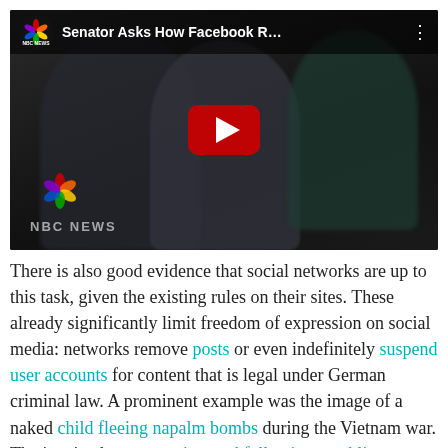[Figure (screenshot): YouTube-style embedded video thumbnail showing NBC News video titled 'Senator Asks How Facebook R...' with a play button overlay. The thumbnail shows blurred figures of people (appears to be Mark Zuckerberg at Senate hearing). NBC News logo and watermark visible.]
There is also good evidence that social networks are up to this task, given the existing rules on their sites. These already significantly limit freedom of expression on social media: networks remove posts or even indefinitely suspend user accounts for content that is legal under German criminal law. A prominent example was the image of a naked child fleeing napalm bombs during the Vietnam war. The iconic photo was reinstated following a public outcry. It shows that such content is